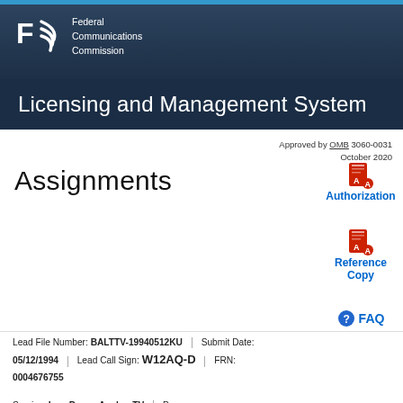[Figure (logo): FCC Federal Communications Commission logo with white FCC letters and swoosh icon on dark navy background]
Licensing and Management System
Approved by OMB 3060-0031
October 2020
Assignments
[Figure (other): PDF icon link labeled Authorization]
[Figure (other): PDF icon link labeled Reference Copy]
[Figure (other): FAQ help circle icon labeled FAQ]
Lead File Number: BALTTV-19940512KU  |  Submit Date:
05/12/1994  |  Lead Call Sign: W12AQ-D  |  FRN:
0004676755
Service: Low Power Analog TV  |  Purpose:
Assignment of Authorization  |  Status: Granted  |  Status Date:
07/20/1994  |  Filing Status: Active